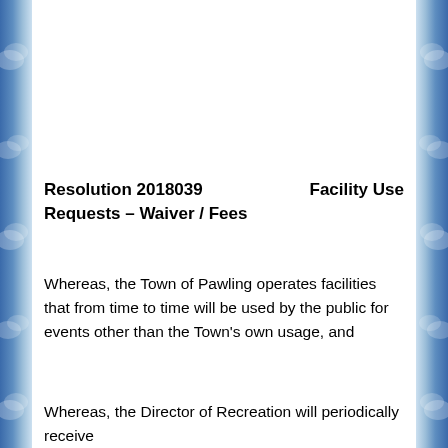Resolution 2018039    Facility Use Requests – Waiver / Fees
Whereas, the Town of Pawling operates facilities that from time to time will be used by the public for events other than the Town's own usage, and
Whereas, the Director of Recreation will periodically receive